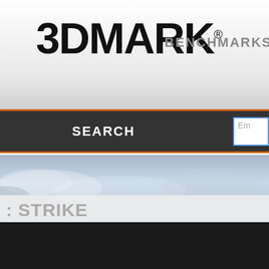3DMARK® BENCHMARKS
SEARCH
[Figure (screenshot): Sky/clouds banner image area for Lightning Strike benchmark]
LIGHTNING STRIKE
[Figure (screenshot): Lightning Strike benchmark screenshot showing lightning and foliage]
We use cookies to personalize content and ads, to provide social media features and to analyze our traffic. We also share information about your use of our site with our social media, advertising and analytics partners.